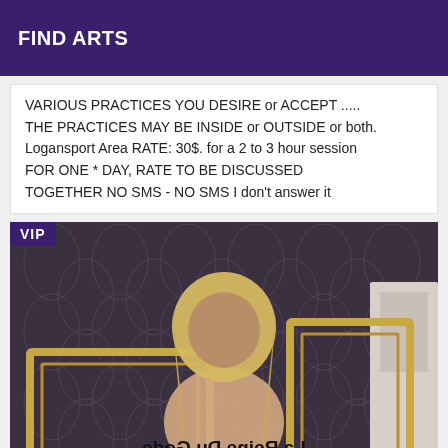FIND ARTS
VARIOUS PRACTICES YOU DESIRE or ACCEPT ..... THE PRACTICES MAY BE INSIDE or OUTSIDE or both. Logansport Area RATE: 30$. for a 2 to 3 hour session FOR ONE * DAY, RATE TO BE DISCUSSED TOGETHER NO SMS - NO SMS I don't answer it
[Figure (photo): Photo of a blonde woman standing in front of a patterned dark wallpaper, holding two empty picture frames. Text on image reads 'La Reine Du Gode' (mirrored). A 'VIP' badge is visible in the top left corner of the photo.]